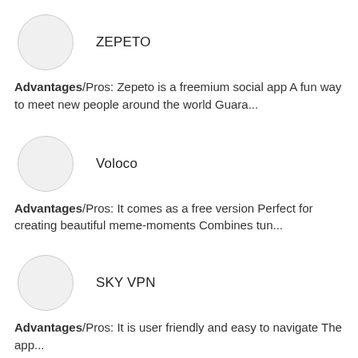[Figure (illustration): Circle icon placeholder for ZEPETO app]
ZEPETO
Advantages/Pros: Zepeto is a freemium social app A fun way to meet new people around the world Guara...
[Figure (illustration): Circle icon placeholder for Voloco app]
Voloco
Advantages/Pros: It comes as a free version Perfect for creating beautiful meme-moments Combines tun...
[Figure (illustration): Circle icon placeholder for SKY VPN app]
SKY VPN
Advantages/Pros: It is user friendly and easy to navigate The app...